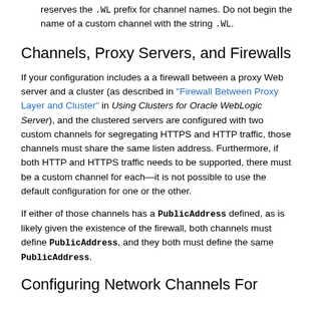reserves the .WL prefix for channel names. Do not begin the name of a custom channel with the string .WL.
Channels, Proxy Servers, and Firewalls
If your configuration includes a a firewall between a proxy Web server and a cluster (as described in "Firewall Between Proxy Layer and Cluster" in Using Clusters for Oracle WebLogic Server), and the clustered servers are configured with two custom channels for segregating HTTPS and HTTP traffic, those channels must share the same listen address. Furthermore, if both HTTP and HTTPS traffic needs to be supported, there must be a custom channel for each—it is not possible to use the default configuration for one or the other.
If either of those channels has a PublicAddress defined, as is likely given the existence of the firewall, both channels must define PublicAddress, and they both must define the same PublicAddress.
Configuring Network Channels For